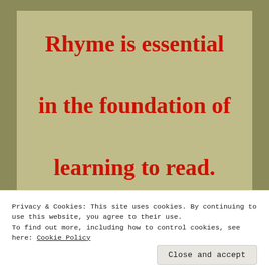Rhyme is essential in the foundation of learning to read.
*
Privacy & Cookies: This site uses cookies. By continuing to use this website, you agree to their use.
To find out more, including how to control cookies, see here: Cookie Policy